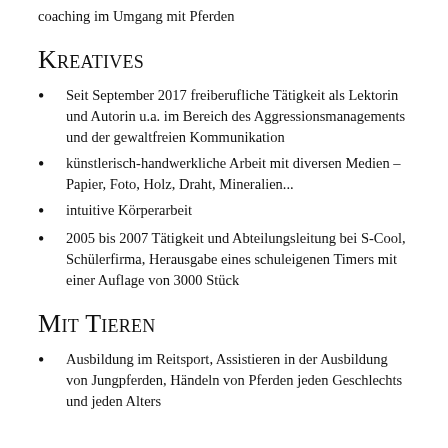coaching im Umgang mit Pferden
Kreatives
Seit September 2017 freiberufliche Tätigkeit als Lektorin und Autorin u.a. im Bereich des Aggressionsmanagements und der gewaltfreien Kommunikation
künstlerisch-handwerkliche Arbeit mit diversen Medien – Papier, Foto, Holz, Draht, Mineralien...
intuitive Körperarbeit
2005 bis 2007 Tätigkeit und Abteilungsleitung bei S-Cool, Schülerfirma, Herausgabe eines schuleigenen Timers mit einer Auflage von 3000 Stück
Mit Tieren
Ausbildung im Reitsport, Assistieren in der Ausbildung von Jungpferden, Händeln von Pferden jeden Geschlechts und jeden Alters